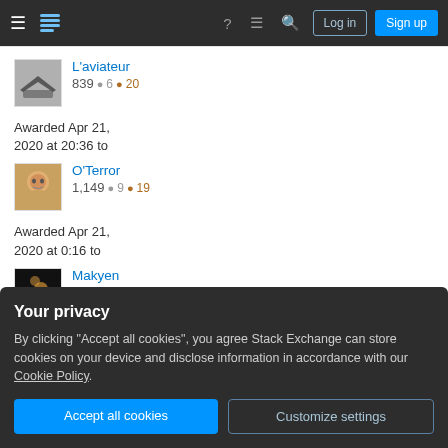Stack Exchange navigation bar with Log in and Sign up buttons
839  ✦6  ✦20
L'aviateur
Awarded Apr 21, 2020 at 20:36 to
O'Terror
1,149  ✦9  ✦19
Awarded Apr 21, 2020 at 0:16 to
Makyen
103  ★1  ✦3  ✦5
Your privacy
By clicking "Accept all cookies", you agree Stack Exchange can store cookies on your device and disclose information in accordance with our Cookie Policy.
Accept all cookies
Customize settings
Awarded Apr 5,
2020 at 14:05 to